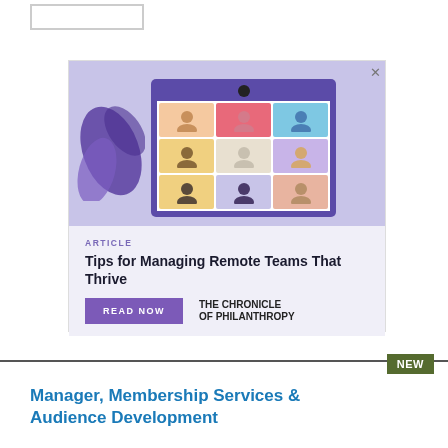[Figure (illustration): Advertisement for The Chronicle of Philanthropy article about managing remote teams, featuring an illustration of a video call grid with diverse avatars, purple plant leaves decoration, with 'READ NOW' button]
ARTICLE
Tips for Managing Remote Teams That Thrive
READ NOW
THE CHRONICLE OF PHILANTHROPY
NEW
Manager, Membership Services & Audience Development